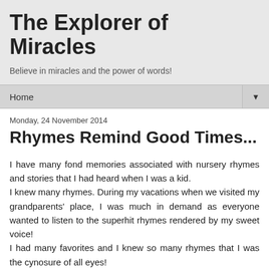The Explorer of Miracles
Believe in miracles and the power of words!
Home ▼
Monday, 24 November 2014
Rhymes Remind Good Times...
I have many fond memories associated with nursery rhymes and stories that I had heard when I was a kid.
I knew many rhymes. During my vacations when we visited my grandparents' place, I was much in demand as everyone wanted to listen to the superhit rhymes rendered by my sweet voice!
I had many favorites and I knew so many rhymes that I was the cynosure of all eyes!